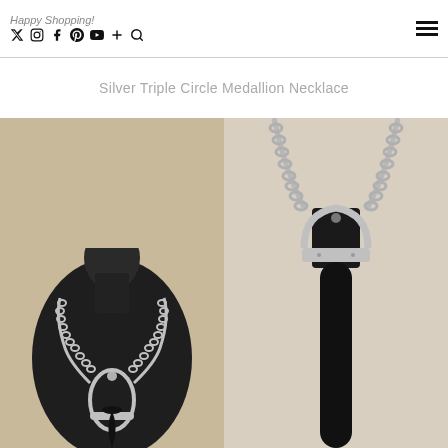Happy Shopping! [social icons: Twitter, Instagram, Facebook, Pinterest, YouTube, +, Search] [hamburger menu]
Silver Triple Circle Medallion Necklace
[Figure (photo): Left photo: A dark mannequin bust wearing a silver chain necklace with a black horn/tusk pendant held in a silver oval frame/cradle. Photographed against beige/cream background.]
[Figure (photo): Right photo: Close-up of the necklace pendant showing a black horn/tusk held in a silver clasp/ring with a black leather strap connector, attached to a silver chain. Photographed against a light beige background.]